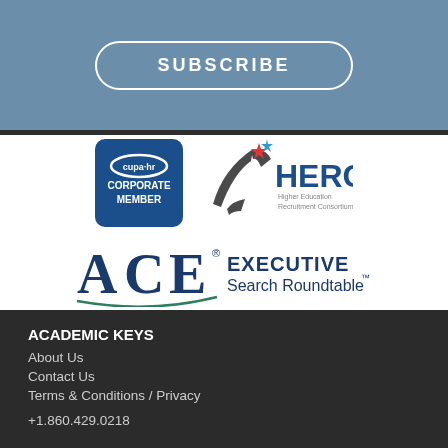SUBSCRIBE
[Figure (logo): CUPA-HR Corporate Member badge — navy blue rounded square with cupa-hr logo and text CORPORATE MEMBER]
[Figure (logo): HERC Higher Education Recruitment Consortium logo — stylized star arrows and HERC text]
[Figure (logo): ACE Executive Search Roundtable logo — stylized ACE letters with registered mark and Executive Search Roundtable trademark text]
ACADEMIC KEYS
About Us
Contact Us
Terms & Conditions / Privacy
+1.860.429.0218